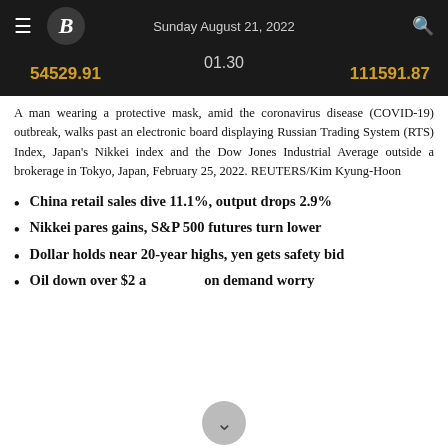Sunday August 21, 2022
[Figure (photo): Electronic board displaying Russian Trading System (RTS) Index values: 54529.91 on the left and 111591.87 on the right, with partial numbers 01.30 visible in the center, on a dark background.]
A man wearing a protective mask, amid the coronavirus disease (COVID-19) outbreak, walks past an electronic board displaying Russian Trading System (RTS) Index, Japan's Nikkei index and the Dow Jones Industrial Average outside a brokerage in Tokyo, Japan, February 25, 2022. REUTERS/Kim Kyung-Hoon
China retail sales dive 11.1%, output drops 2.9%
Nikkei pares gains, S&P 500 futures turn lower
Dollar holds near 20-year highs, yen gets safety bid
Oil down over $2 a ... on demand worry